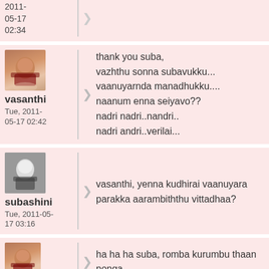2011-05-17 02:34
thank you suba,
vazhthu sonna subavukku...
vaanuyarnda manadhukku....
naanum enna seiyavo??
nadri nadri..nandri..
nadri andri..verilai...
vasanthi
Tue, 2011-05-17 02:42
vasanthi, yenna kudhirai vaanuyara parakka aarambiththu vittadhaa?
subashini
Tue, 2011-05-17 03:16
ha ha ha suba, romba kurumbu thaan ponga...